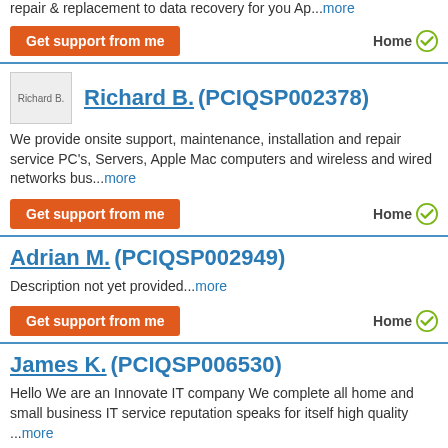repair & replacement to data recovery for you Ap...more
Get support from me — Home (checkmark)
Richard B. (PCIQSP002378)
We provide onsite support, maintenance, installation and repair service PC's, Servers, Apple Mac computers and wireless and wired networks bus...more
Get support from me — Home (checkmark)
Adrian M. (PCIQSP002949)
Description not yet provided...more
Get support from me — Home (checkmark)
James K. (PCIQSP006530)
Hello We are an Innovate IT company We complete all home and small business IT service reputation speaks for itself high quality ...more
Get support from me — Home (checkmark)
Mo A. (PCIQSP0060142)
We provide IT Support and Outsourcing services to businesses situated in Manchester